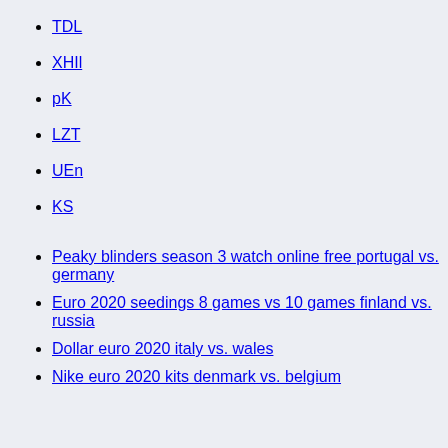TDL
XHIl
pK
LZT
UEn
KS
Peaky blinders season 3 watch online free portugal vs. germany
Euro 2020 seedings 8 games vs 10 games finland vs. russia
Dollar euro 2020 italy vs. wales
Nike euro 2020 kits denmark vs. belgium